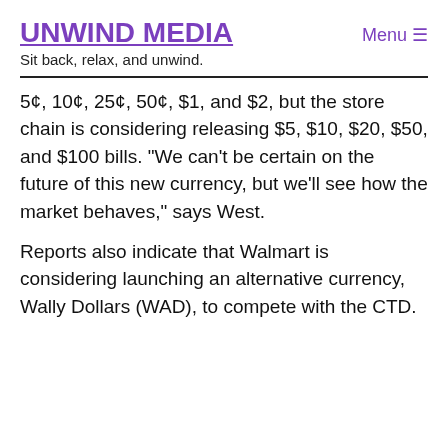UNWIND MEDIA
Sit back, relax, and unwind.
5¢, 10¢, 25¢, 50¢, $1, and $2, but the store chain is considering releasing $5, $10, $20, $50, and $100 bills. “We can’t be certain on the future of this new currency, but we’ll see how the market behaves,” says West.
Reports also indicate that Walmart is considering launching an alternative currency, Wally Dollars (WAD), to compete with the CTD.